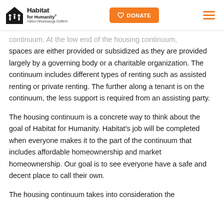Habitat for Humanity Halton-Mississauga-Dufferin | DONATE
continuum. At the low end of the housing continuum, spaces are either provided or subsidized as they are provided largely by a governing body or a charitable organization. The continuum includes different types of renting such as assisted renting or private renting. The further along a tenant is on the continuum, the less support is required from an assisting party.
The housing continuum is a concrete way to think about the goal of Habitat for Humanity. Habitat's job will be completed when everyone makes it to the part of the continuum that includes affordable homeownership and market homeownership. Our goal is to see everyone have a safe and decent place to call their own.
The housing continuum takes into consideration the